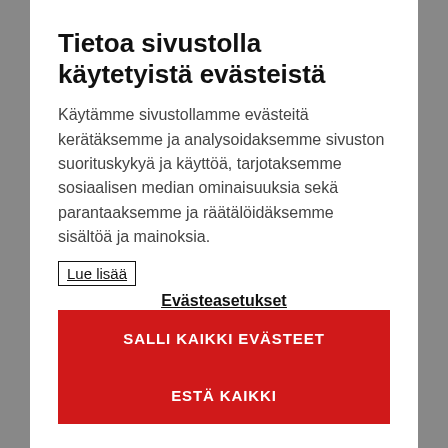Tietoa sivustolla käytetyistä evästeistä
Käytämme sivustollamme evästeitä kerätäksemme ja analysoidaksemme sivuston suorituskykyä ja käyttöä, tarjotaksemme sosiaalisen median ominaisuuksia sekä parantaaksemme ja räätälöidäksemme sisältöä ja mainoksia.
Lue lisää
Evästeasetukset
SALLI KAIKKI EVÄSTEET
ESTÄ KAIKKI